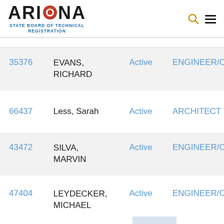[Figure (logo): Arizona State Board of Technical Registration logo with stylized ARIZONA text (O replaced by red/orange circular icon) and subtitle text]
| ID | Name | Status | Type |
| --- | --- | --- | --- |
| 35376 | EVANS, RICHARD | Active | ENGINEER/CHEM... |
| 66437 | Less, Sarah | Active | ARCHITECT |
| 43472 | SILVA, MARVIN | Active | ENGINEER/CIVIL |
| 47404 | LEYDECKER, MICHAEL | Active | ENGINEER/CIVIL |